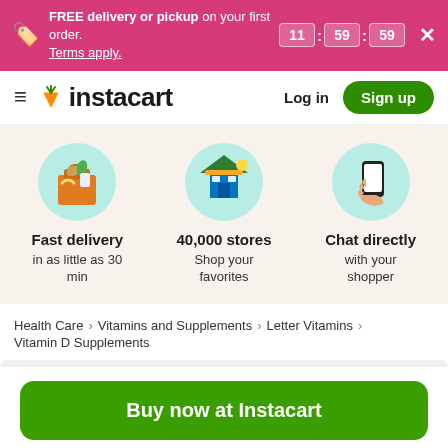FREE delivery or pickup on your first order. Terms apply. 11 : 59 : 59
[Figure (logo): Instacart logo with carrot icon and hamburger menu]
Log in
Sign up
[Figure (illustration): Three feature icons: grocery bag (fast delivery), storefront (40,000 stores), hand with phone (chat directly). Fast delivery in as little as 30 min. 40,000 stores Shop your favorites. Chat directly with your shopper.]
Health Care > Vitamins and Supplements > Letter Vitamins > Vitamin D Supplements
Buy now at Instacart